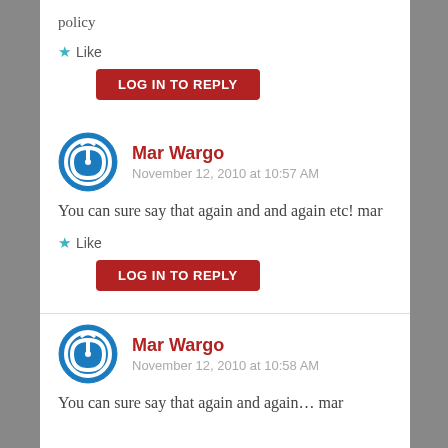policy
★ Like
LOG IN TO REPLY
Mar Wargo
November 12, 2010 at 10:57 AM
You can sure say that again and and again etc! mar
★ Like
LOG IN TO REPLY
Mar Wargo
November 12, 2010 at 10:58 AM
You can sure say that again and again... mar